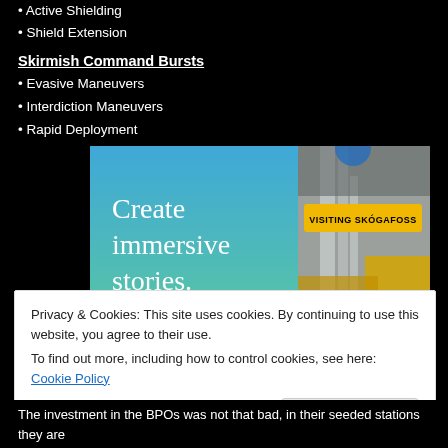• Active Shielding
• Shield Extension
Skirmish Command Bursts
• Evasive Maneuvers
• Interdiction Maneuvers
• Rapid Deployment
[Figure (screenshot): Advertisement screenshot showing 'Create immersive stories.' text on blue background alongside a waterfall photo with 'VISITING SKÓGAFOSS' label]
Privacy & Cookies: This site uses cookies. By continuing to use this website, you agree to their use.
To find out more, including how to control cookies, see here: Cookie Policy
The investment in the BPOs was not that bad, in their seeded stations they are